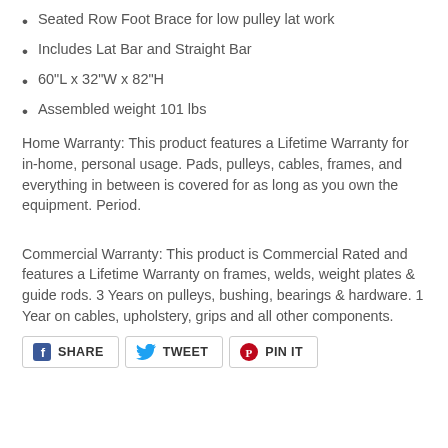Seated Row Foot Brace for low pulley lat work
Includes Lat Bar and Straight Bar
60"L x 32"W x 82"H
Assembled weight 101 lbs
Home Warranty: This product features a Lifetime Warranty for in-home, personal usage. Pads, pulleys, cables, frames, and everything in between is covered for as long as you own the equipment. Period.
Commercial Warranty: This product is Commercial Rated and features a Lifetime Warranty on frames, welds, weight plates & guide rods. 3 Years on pulleys, bushing, bearings & hardware. 1 Year on cables, upholstery, grips and all other components.
[Figure (other): Social sharing buttons: SHARE (Facebook), TWEET (Twitter), PIN IT (Pinterest)]